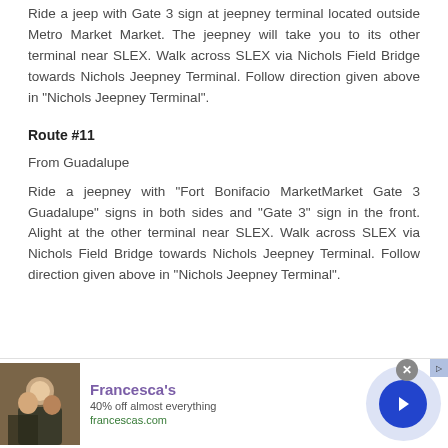Ride a jeep with Gate 3 sign at jeepney terminal located outside Metro Market Market. The jeepney will take you to its other terminal near SLEX. Walk across SLEX via Nichols Field Bridge towards Nichols Jeepney Terminal. Follow direction given above in "Nichols Jeepney Terminal".
Route #11
From Guadalupe
Ride a jeepney with "Fort Bonifacio MarketMarket Gate 3 Guadalupe" signs in both sides and "Gate 3" sign in the front. Alight at the other terminal near SLEX. Walk across SLEX via Nichols Field Bridge towards Nichols Jeepney Terminal. Follow direction given above in "Nichols Jeepney Terminal".
[Figure (other): Advertisement banner for Francesca's: '40% off almost everything' at francescas.com, with a photo of people and a navigation arrow button.]